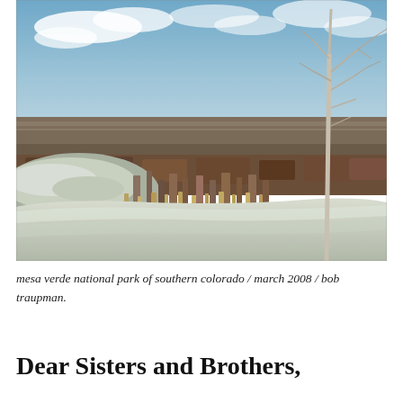[Figure (photo): Landscape photograph taken at Mesa Verde National Park in southern Colorado, March 2008. Foreground shows a large flat snow-dusted rock ledge with dry brush and a bare dead tree on the right side. The background shows a vast flat plain extending to the horizon under a partly cloudy blue sky.]
mesa verde national park of southern colorado / march 2008 / bob traupman.
Dear Sisters and Brothers,